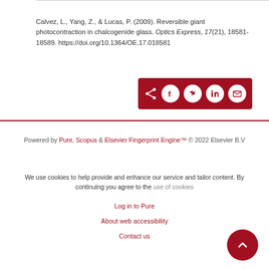Calvez, L., Yang, Z., & Lucas, P. (2009). Reversible giant photocontraction in chalcogenide glass. Optics Express, 17(21), 18581-18589. https://doi.org/10.1364/OE.17.018581
[Figure (other): Share buttons bar with dark red background containing share icon and social media icons (Facebook, Twitter, LinkedIn, Email) as white circles]
Powered by Pure, Scopus & Elsevier Fingerprint Engine™ © 2022 Elsevier B.V
We use cookies to help provide and enhance our service and tailor content. By continuing you agree to the use of cookies
Log in to Pure
About web accessibility
Contact us